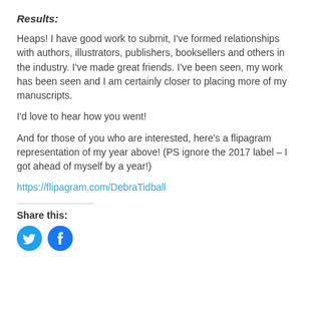Results:
Heaps! I have good work to submit, I've formed relationships with authors, illustrators, publishers, booksellers and others in the industry. I've made great friends. I've been seen, my work has been seen and I am certainly closer to placing more of my manuscripts.
I'd love to hear how you went!
And for those of you who are interested, here's a flipagram representation of my year above! (PS ignore the 2017 label – I got ahead of myself by a year!)
https://flipagram.com/DebraTidball
Share this: